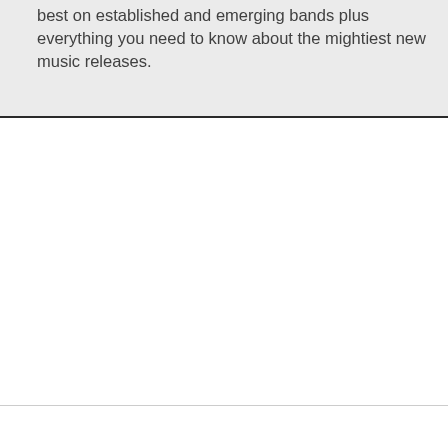best on established and emerging bands plus everything you need to know about the mightiest new music releases.